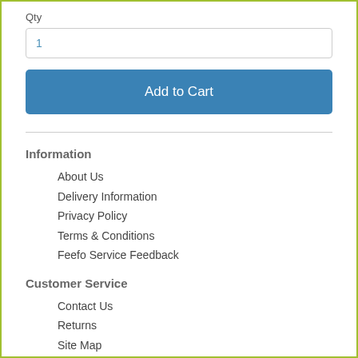Qty
1
Add to Cart
Information
About Us
Delivery Information
Privacy Policy
Terms & Conditions
Feefo Service Feedback
Customer Service
Contact Us
Returns
Site Map
Extras
Brands
Gift Certificate